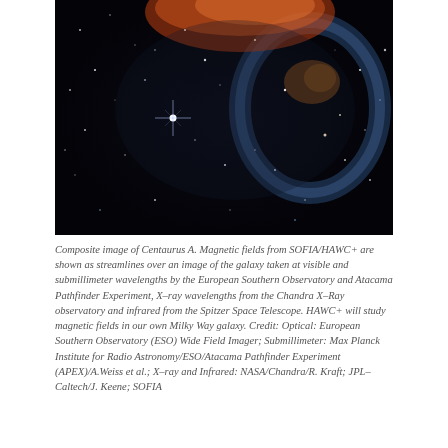[Figure (photo): Composite astronomical image of Centaurus A galaxy showing a dark starfield with colorful nebula structure — orange/red filaments at top, blue arc on right side, with bright stars visible including a prominent cross-shaped star in the center-left area.]
Composite image of Centaurus A. Magnetic fields from SOFIA/HAWC+ are shown as streamlines over an image of the galaxy taken at visible and submillimeter wavelengths by the European Southern Observatory and Atacama Pathfinder Experiment, X-ray wavelengths from the Chandra X-Ray observatory and infrared from the Spitzer Space Telescope. HAWC+ will study magnetic fields in our own Milky Way galaxy. Credit: Optical: European Southern Observatory (ESO) Wide Field Imager; Submillimeter: Max Planck Institute for Radio Astronomy/ESO/Atacama Pathfinder Experiment (APEX)/A.Weiss et al.; X-ray and Infrared: NASA/Chandra/R. Kraft; JPL-Caltech/J. Keene; SOFIA